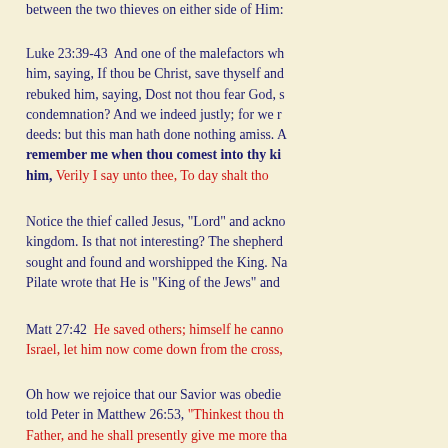between the two thieves on either side of Him:
Luke 23:39-43  And one of the malefactors wh him, saying, If thou be Christ, save thyself and rebuked him, saying, Dost not thou fear God, s condemnation? And we indeed justly; for we r deeds: but this man hath done nothing amiss. A remember me when thou comest into thy ki him, Verily I say unto thee, To day shalt tho
Notice the thief called Jesus, "Lord" and ackno kingdom. Is that not interesting? The shepherd sought and found and worshipped the King. Na Pilate wrote that He is "King of the Jews" and
Matt 27:42  He saved others; himself he canno Israel, let him now come down from the cross,
Oh how we rejoice that our Savior was obedie told Peter in Matthew 26:53, "Thinkest thou th Father, and he shall presently give me more tha But how then shall the scriptures be fulfille